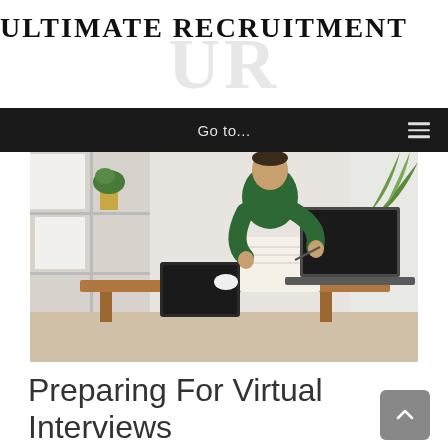Ultimate Recruitment
[Figure (screenshot): Dark navigation bar with 'Go to...' text centered and a hamburger menu icon on the right]
[Figure (photo): Person in a dark green sweater writing in a notebook at a wooden desk with a laptop and tablet, bookshelves and plant in background]
Preparing For Virtual Interviews